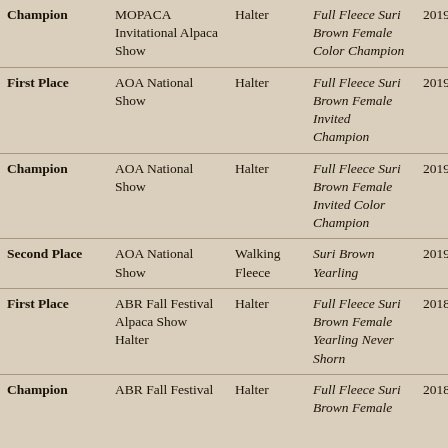| Award | Show | Type | Category | Year |
| --- | --- | --- | --- | --- |
| Champion | MOPACA Invitational Alpaca Show | Halter | Full Fleece Suri Brown Female Color Champion | 2019 |
| First Place | AOA National Show | Halter | Full Fleece Suri Brown Female Invited Champion | 2019 |
| Champion | AOA National Show | Halter | Full Fleece Suri Brown Female Invited Color Champion | 2019 |
| Second Place | AOA National Show | Walking Fleece | Suri Brown Yearling | 2019 |
| First Place | ABR Fall Festival Alpaca Show Halter | Halter | Full Fleece Suri Brown Female Yearling Never Shorn | 2018 |
| Champion | ABR Fall Festival | Halter | Full Fleece Suri Brown Female | 2018 |